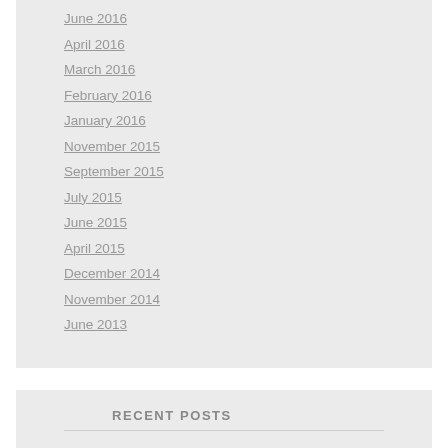June 2016
April 2016
March 2016
February 2016
January 2016
November 2015
September 2015
July 2015
June 2015
April 2015
December 2014
November 2014
June 2013
RECENT POSTS